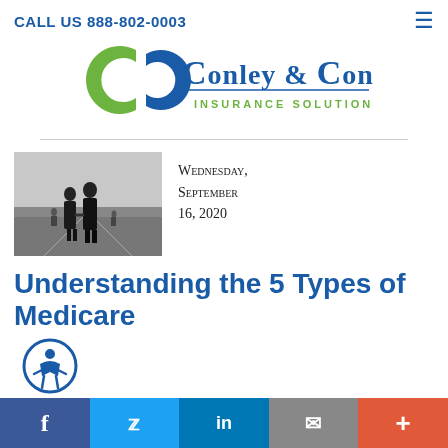CALL US 888-802-0003
[Figure (logo): Conley & Conley Insurance Solutions logo with stylized C icon in green and blue]
[Figure (photo): Black and white photo of two people holding hands walking away on a cobblestone path]
Wednesday, September 16, 2020
Understanding the 5 Types of Medicare
[Figure (illustration): Accessibility/person icon in blue circle]